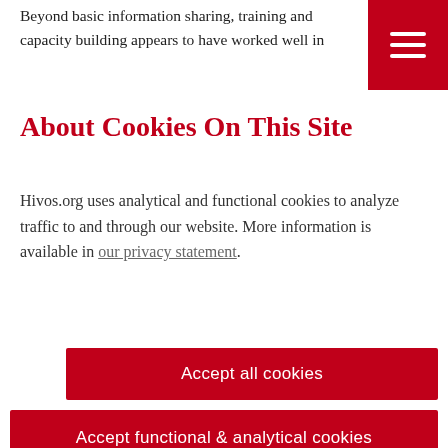Beyond basic information sharing, training and capacity building appears to have worked well in
[Figure (other): Red hamburger menu icon (three white horizontal lines on red background)]
About Cookies On This Site
Hivos.org uses analytical and functional cookies to analyze traffic to and through our website. More information is available in our privacy statement.
Accept all cookies
Accept functional & analytical cookies